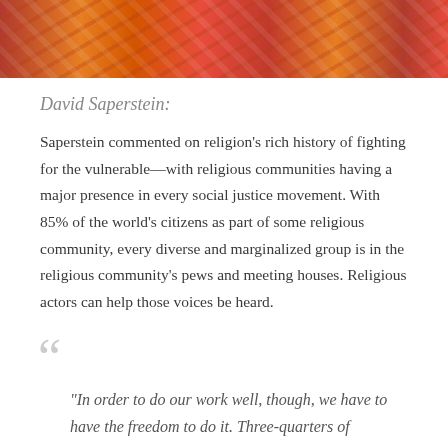[Figure (photo): Colorful fabric or traditional garments in orange, red, and pattern colors — partial photo at top of page]
David Saperstein:
Saperstein commented on religion's rich history of fighting for the vulnerable—with religious communities having a major presence in every social justice movement. With 85% of the world's citizens as part of some religious community, every diverse and marginalized group is in the religious community's pews and meeting houses. Religious actors can help those voices be heard.
“In order to do our work well, though, we have to have the freedom to do it. Three-quarters of